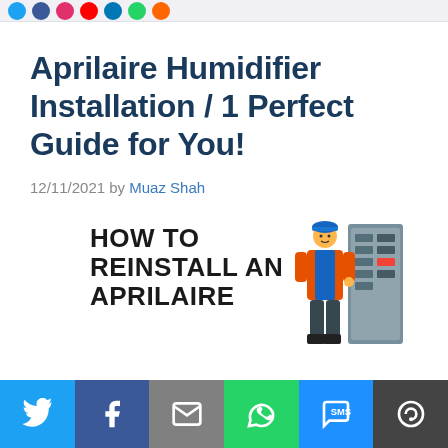Social share icons bar at top
Aprilaire Humidifier Installation / 1 Perfect Guide for You!
12/11/2021 by Muaz Shah
[Figure (illustration): Illustration showing text 'HOW TO REINSTALL AN APRILAIRE' with a technician working on an electrical panel]
Social share bar: Twitter, Facebook, Email, WhatsApp, SMS, More